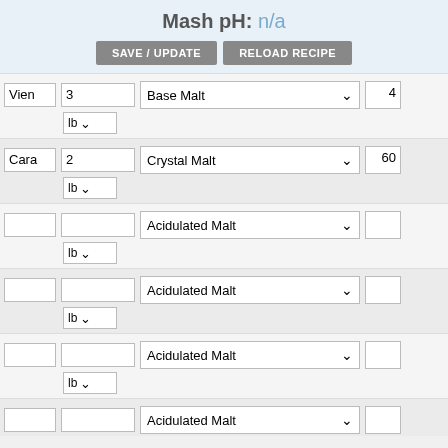Mash pH: n/a
SAVE / UPDATE
RELOAD RECIPE
| Name | Amount | Unit | Type | Value |
| --- | --- | --- | --- | --- |
| Vien | 3 | lb | Base Malt | 4 |
| Cara | 2 | lb | Crystal Malt | 60 |
|  |  | lb | Acidulated Malt |  |
|  |  | lb | Acidulated Malt |  |
|  |  | lb | Acidulated Malt |  |
|  |  | lb | Acidulated Malt |  |